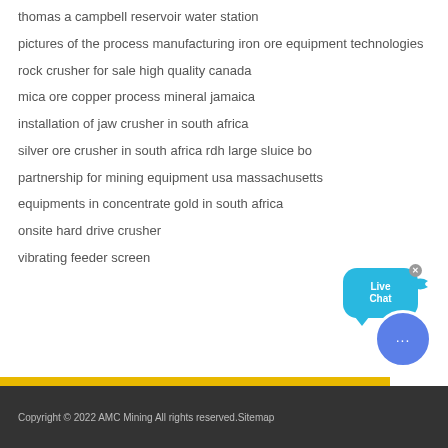thomas a campbell reservoir water station
pictures of the process manufacturing iron ore equipment technologies
rock crusher for sale high quality canada
mica ore copper process mineral jamaica
installation of jaw crusher in south africa
silver ore crusher in south africa rdh large sluice bo
partnership for mining equipment usa massachusetts
equipments in concentrate gold in south africa
onsite hard drive crusher
vibrating feeder screen
Copyright © 2022 AMC Mining All rights reserved.Sitemap